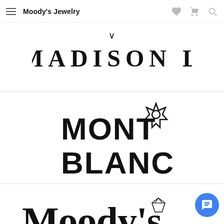Moody's Jewelry
[Figure (logo): Madison L brand logo with stylized V mark above the text MADISON L in bold uppercase serif letters]
[Figure (logo): Montblanc logo with snowflake/star emblem and bold uppercase text MONT BLANC in two lines]
[Figure (logo): Moody's Jewelry logo with diamond icon and script/serif text reading Moody's JEWELRY]